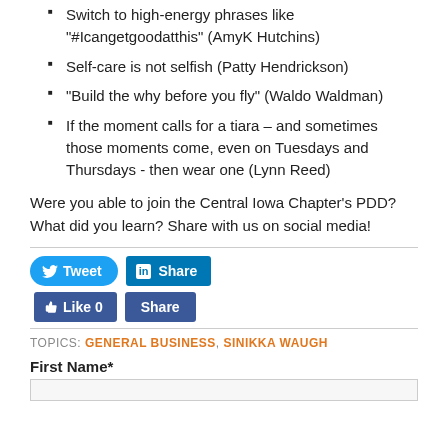Switch to high-energy phrases like "#Icangetgoodatthis" (AmyK Hutchins)
Self-care is not selfish (Patty Hendrickson)
"Build the why before you fly" (Waldo Waldman)
If the moment calls for a tiara – and sometimes those moments come, even on Tuesdays and Thursdays - then wear one (Lynn Reed)
Were you able to join the Central Iowa Chapter's PDD? What did you learn? Share with us on social media!
TOPICS: GENERAL BUSINESS, SINIKKA WAUGH
First Name*